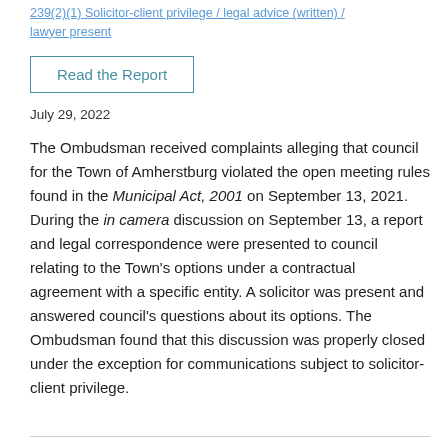239(2)(1) Solicitor-client privilege / legal advice (written) / lawyer present
Read the Report
July 29, 2022
The Ombudsman received complaints alleging that council for the Town of Amherstburg violated the open meeting rules found in the Municipal Act, 2001 on September 13, 2021. During the in camera discussion on September 13, a report and legal correspondence were presented to council relating to the Town's options under a contractual agreement with a specific entity. A solicitor was present and answered council's questions about its options. The Ombudsman found that this discussion was properly closed under the exception for communications subject to solicitor-client privilege.